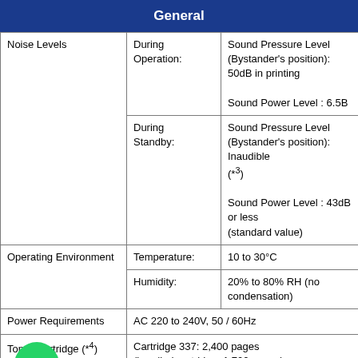General
|  |  |  |
| --- | --- | --- |
| Noise Levels | During Operation: | Sound Pressure Level (Bystander's position): 50dB in printing
Sound Power Level : 6.5B |
|  | During Standby: | Sound Pressure Level (Bystander's position): Inaudible (*3)
Sound Power Level : 43dB or less (standard value) |
| Operating Environment | Temperature: | 10 to 30°C |
|  | Humidity: | 20% to 80% RH (no condensation) |
| Power Requirements | AC 220 to 240V, 50 / 60Hz |  |
| Toner Cartridge (*4) | Cartridge 337: 2,400 pages
(bundled cartridge: 1,700 pages) |  |
| Monthly Duty Cycle (*5) | Up to 8,000 pages |  |
| Recommended Monthly | 500 - 2,000 pages |  |